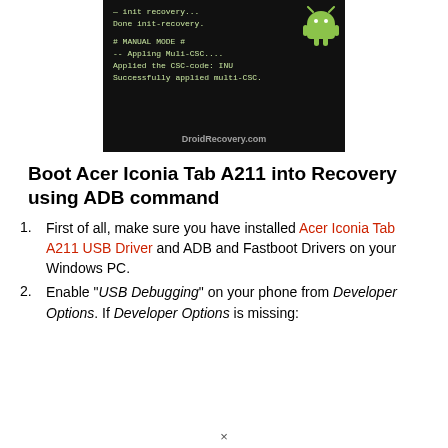[Figure (screenshot): Dark screenshot showing Android recovery terminal output with text: init recovery... Done init-recovery. # MANUAL MODE # -- Appling Muli-CSC.... Applied the CSC-code: INU Successfully applied multi-CSC. DroidRecovery.com]
Boot Acer Iconia Tab A211 into Recovery using ADB command
First of all, make sure you have installed Acer Iconia Tab A211 USB Driver and ADB and Fastboot Drivers on your Windows PC.
Enable "USB Debugging" on your phone from Developer Options. If Developer Options is missing: